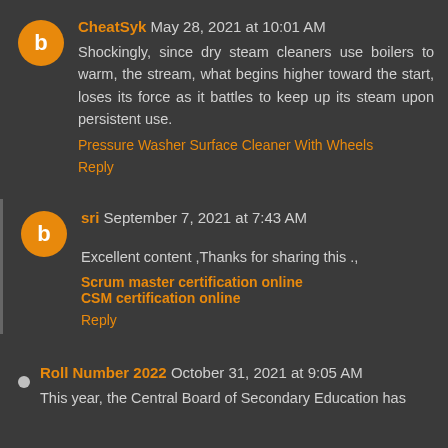CheatSyk May 28, 2021 at 10:01 AM
Shockingly, since dry steam cleaners use boilers to warm, the stream, what begins higher toward the start, loses its force as it battles to keep up its steam upon persistent use. Pressure Washer Surface Cleaner With Wheels Reply
sri September 7, 2021 at 7:43 AM
Excellent content ,Thanks for sharing this ., Scrum master certification online CSM certification online Reply
Roll Number 2022 October 31, 2021 at 9:05 AM
This year, the Central Board of Secondary Education has